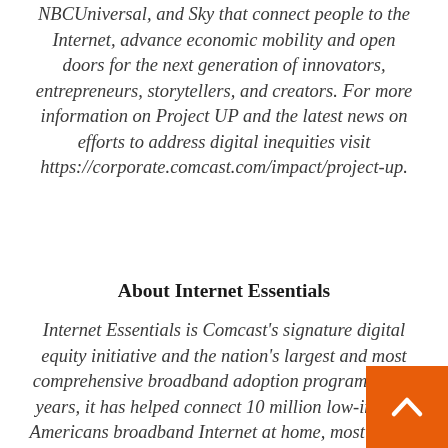NBCUniversal, and Sky that connect people to the Internet, advance economic mobility and open doors for the next generation of innovators, entrepreneurs, storytellers, and creators. For more information on Project UP and the latest news on efforts to address digital inequities visit https://corporate.comcast.com/impact/project-up.
About Internet Essentials
Internet Essentials is Comcast's signature digital equity initiative and the nation's largest and most comprehensive broadband adoption program. In 10 years, it has helped connect 10 million low-income Americans broadband Internet at home, most for the very first time. Internet Essentials has a